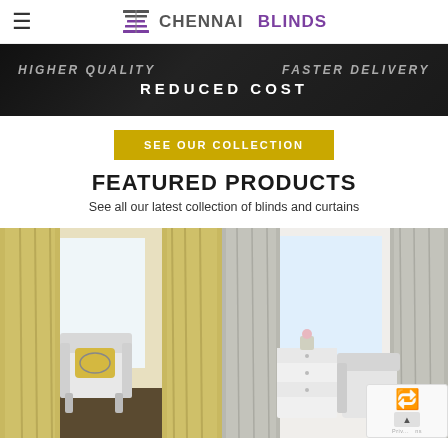Chennai Blinds
[Figure (photo): Dark banner with text: HIGHER QUALITY | FASTER DELIVERY | REDUCED COST]
SEE OUR COLLECTION
FEATURED PRODUCTS
See all our latest collection of blinds and curtains
[Figure (photo): Yellow/gold patterned curtains with a white armchair and decorative pillow]
[Figure (photo): Grey patterned curtains with a white dresser and armchair in a bright room]